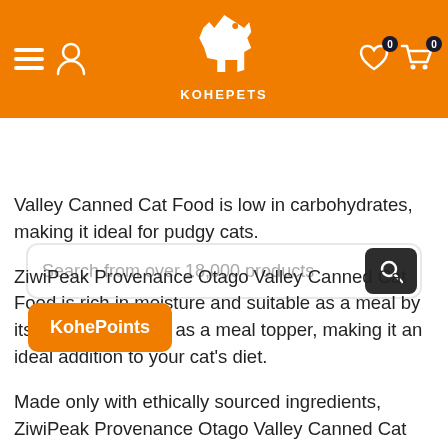[Figure (screenshot): KohePets website header with orange background, hamburger menu, user icon, dog logo, wishlist and cart icons with badge count 0]
[Figure (screenshot): Search bar with placeholder text 'Search from over 18,000 products' and dark search button]
Valley Canned Cat Food is low in carbohydrates, making it ideal for pudgy cats.
ZiwiPeak Provenance Otago Valley Canned Cat Food is rich in moisture and suitable as a meal by itself, or with kibble as a meal topper, making it an ideal addition to your cat's diet.
Made only with ethically sourced ingredients, ZiwiPeak Provenance Otago Valley Canned Cat Food contains only grass-fed, free-range beef, venison & lamb as well as wild-caught fish.
M...ealand, ZiwiPeak Provenance Otago Valley Canned Cat Food is suitable for cats of all life stages and
[Figure (screenshot): KohePoints orange button overlay in bottom-left area]